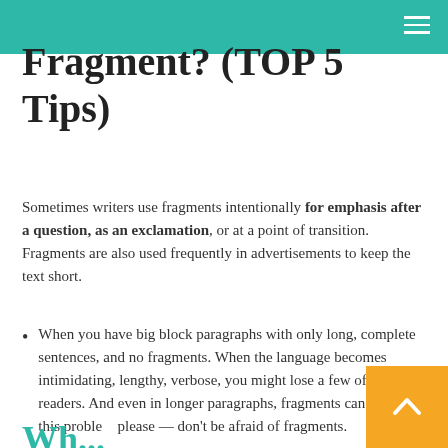Fragment? (TOP 5 Tips)
Sometimes writers use fragments intentionally for emphasis after a question, as an exclamation, or at a point of transition. Fragments are also used frequently in advertisements to keep the text short.
When you have big block paragraphs with only long, complete sentences, and no fragments. When the language becomes intimidating, lengthy, verbose, you might lose a few of your readers. And even in longer paragraphs, fragments can help with this problem please — don't be afraid of fragments.
Wh...